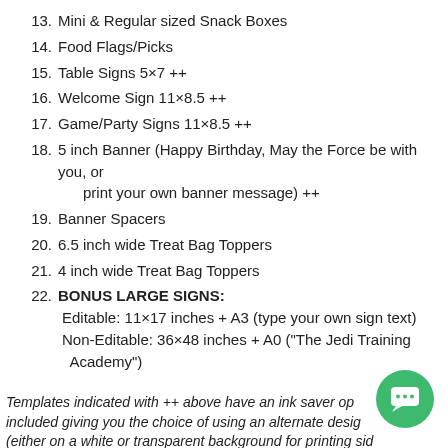13. Mini & Regular sized Snack Boxes
14. Food Flags/Picks
15. Table Signs 5×7 ++
16. Welcome Sign 11×8.5 ++
17. Game/Party Signs 11×8.5 ++
18. 5 inch Banner (Happy Birthday, May the Force be with you, or print your own banner message) ++
19. Banner Spacers
20. 6.5 inch wide Treat Bag Toppers
21. 4 inch wide Treat Bag Toppers
22. BONUS LARGE SIGNS:
Editable: 11×17 inches + A3 (type your own sign text)
Non-Editable: 36×48 inches + A0 ("The Jedi Training Academy")
Templates indicated with ++ above have an ink saver op... included giving you the choice of using an alternate desig...